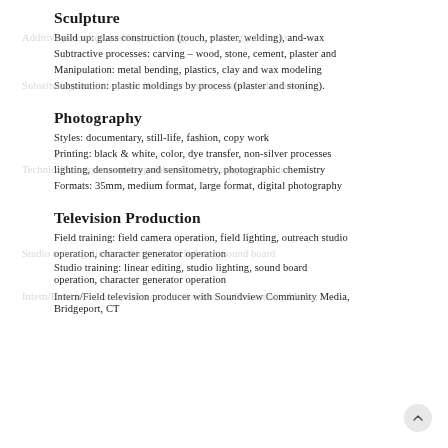Papermaking: casting, sheet production
Other: editioning, curation of prints
Sculpture
Additive processes: welding (flux, tig, arc, welding), and-wax
Build up: glass construction (touch, plaster, welding), and-wax
Subtractive processes: carving – wood, stone, cement, plaster and
Manipulation: metal bending, plastics, clay and wax modeling
Substituting metal to molds (lost wax casting, plaster and stoning).
Substitution: plastic moldings by process (plaster and stoning).
Photography
Styles: documentary, still-life, fashion, copy work
Printing: black & white, color, dye transfer, non-silver processes
Technical lens system photography, digital photograph studio
lighting, densometry and sensitometry, photographic chemistry
Formats: 35mm, medium format, large format, digital photography
Television Production
Field training: field camera operation, field lighting, outreach studio
Studio training: linear editing, studio lighting, sound board operation, character generator operation
Studio training: linear editing, studio lighting, sound board operation, character generator operation
Intern/Field television producer with Soundview Community Media, Bridgeport, CT